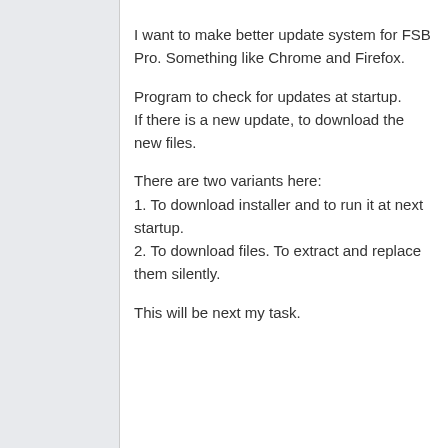I want to make better update system for FSB Pro. Something like Chrome and Firefox.

Program to check for updates at startup.
If there is a new update, to download the new files.

There are two variants here:
1. To download installer and to run it at next startup.
2. To download files. To extract and replace them silently.

This will be next my task.
Website
zpoken
2013-08-15 12:52:37
15
A few suggestions again: Is it possible in FST to have a pause (or stop button) that lets the software finish what is already started, but not making new orders?  Another thing I have been looking for is if there is a way in Logic Condition to put a matrix of pips as a condition? Lets say I want it go long from 1,34 (EurUsd) and then next adding long order will be 25 points up from 1,34 and so